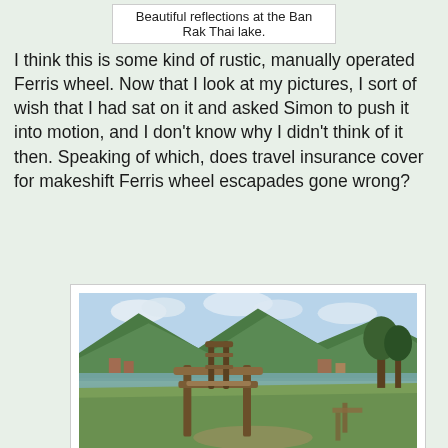Beautiful reflections at the Ban Rak Thai lake.
I think this is some kind of rustic, manually operated Ferris wheel. Now that I look at my pictures, I sort of wish that I had sat on it and asked Simon to push it into motion, and I don't know why I didn't think of it then. Speaking of which, does travel insurance cover for makeshift Ferris wheel escapades gone wrong?
[Figure (photo): A small wooden Ferris wheel structure at Mae Aw / Ban Rak Thai, with mountains, a lake, and a village visible in the background.]
A small wooden Ferris wheel at Mae Aw / Ban Rak Thai.